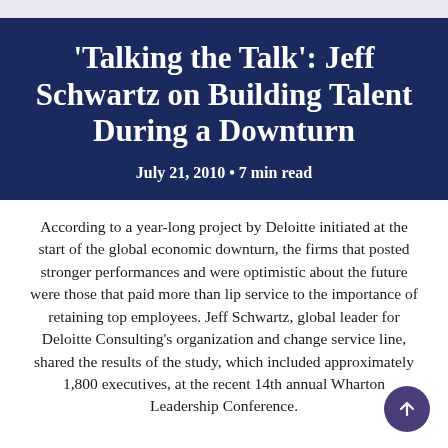'Talking the Talk': Jeff Schwartz on Building Talent During a Downturn
July 21, 2010 • 7 min read
According to a year-long project by Deloitte initiated at the start of the global economic downturn, the firms that posted stronger performances and were optimistic about the future were those that paid more than lip service to the importance of retaining top employees. Jeff Schwartz, global leader for Deloitte Consulting's organization and change service line, shared the results of the study, which included approximately 1,800 executives, at the recent 14th annual Wharton Leadership Conference.